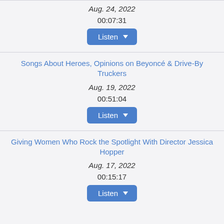Aug. 24, 2022
00:07:31
Listen
Songs About Heroes, Opinions on Beyoncé & Drive-By Truckers
Aug. 19, 2022
00:51:04
Listen
Giving Women Who Rock the Spotlight With Director Jessica Hopper
Aug. 17, 2022
00:15:17
Listen